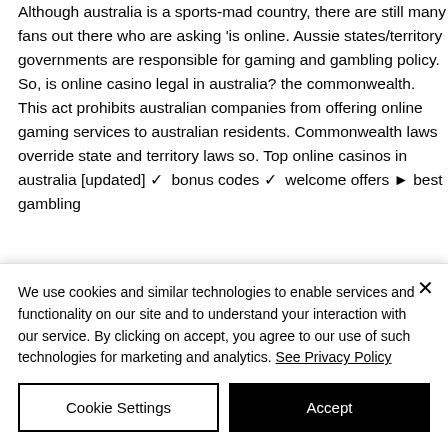Although australia is a sports-mad country, there are still many fans out there who are asking 'is online. Aussie states/territory governments are responsible for gaming and gambling policy. So, is online casino legal in australia? the commonwealth. This act prohibits australian companies from offering online gaming services to australian residents. Commonwealth laws override state and territory laws so. Top online casinos in australia [updated] ✓ bonus codes ✓ welcome offers ► best gambling
We use cookies and similar technologies to enable services and functionality on our site and to understand your interaction with our service. By clicking on accept, you agree to our use of such technologies for marketing and analytics. See Privacy Policy